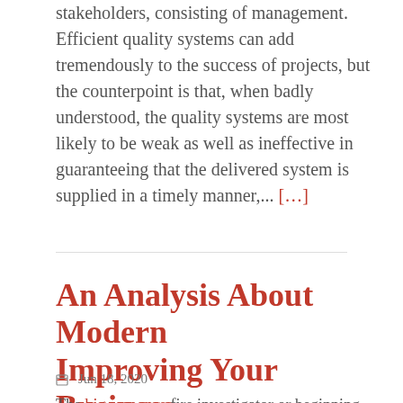stakeholders, consisting of management. Efficient quality systems can add tremendously to the success of projects, but the counterpoint is that, when badly understood, the quality systems are most likely to be weak as well as ineffective in guaranteeing that the delivered system is supplied in a timely manner,... […]
An Analysis About Modern Improving Your Business
Jun 18, 2020
The big response fire investigator or beginning